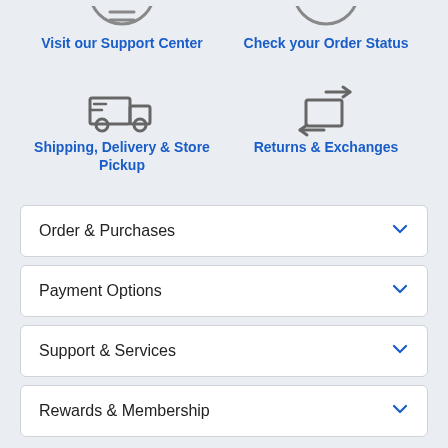[Figure (illustration): Delivery truck icon (shipping)]
Shipping, Delivery & Store Pickup
[Figure (illustration): Package with arrows icon (returns/exchanges)]
Returns & Exchanges
Order & Purchases
Payment Options
Support & Services
Rewards & Membership